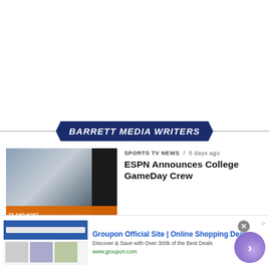[Figure (logo): Barrett Media Writers banner with dark blue hexagonal/chevron shaped background and white italic bold text]
[Figure (photo): ESPN College GameDay crew photo with three men in suits, orange lower bar with text 'ANALYSTS AND HOST']
SPORTS TV NEWS / 5 days ago
ESPN Announces College GameDay Crew
[Figure (screenshot): Groupon advertisement banner showing website screenshot thumbnail, title 'Groupon Official Site | Online Shopping Deals', description 'Discover & Save with Over 300k of the Best Deals', URL 'www.groupon.com', with purple arrow circle button]